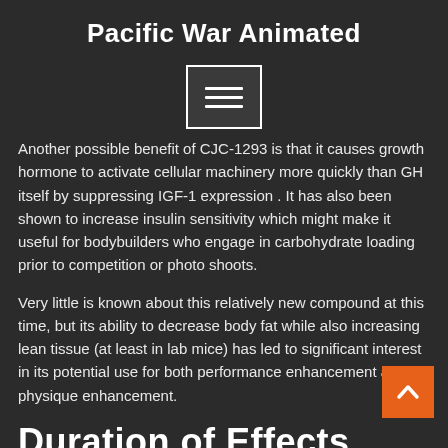Pacific War Animated
[Figure (other): Hamburger menu button icon with three horizontal lines inside a rounded rectangle border]
Another possible benefit of CJC-1293 is that it causes growth hormone to activate cellular machinery more quickly than GH itself by suppressing IGF-1 expression . It has also been shown to increase insulin sensitivity which might make it useful for bodybuilders who engage in carbohydrate loading prior to competition or photo shoots.
Very little is known about this relatively new compound at this time, but its ability to decrease body fat while also increasing lean tissue (at least in lab mice) has led to significant interest in its potential use for both performance enhancement and physique enhancement.
Duration of Effects